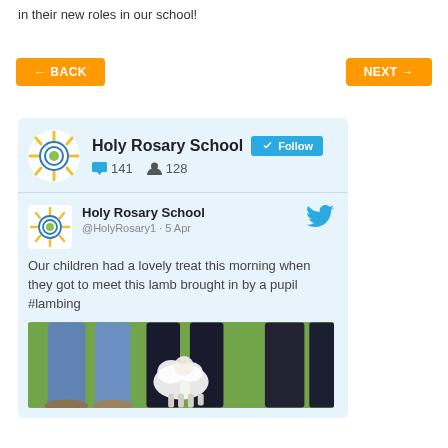in their new roles in our school!
← BACK
NEXT →
[Figure (screenshot): Twitter widget for Holy Rosary School showing profile with Follow button, 141 tweets, 128 followers, and a tweet from @HolyRosary1 dated 5 Apr reading: Our children had a lovely treat this morning when they got to meet this lamb brought in by a pupil #lambing, with a photo of people's legs standing on grass with a lamb]
Holy Rosary School
141  128
Holy Rosary School @HolyRosary1 · 5 Apr
Our children had a lovely treat this morning when they got to meet this lamb brought in by a pupil #lambing